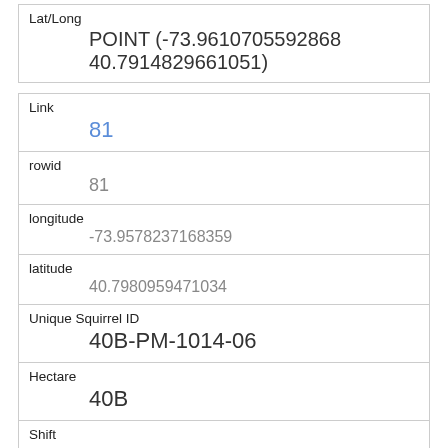| Lat/Long | POINT (-73.9610705592868 40.7914829661051) |
| Link | 81 |
| rowid | 81 |
| longitude | -73.9578237168359 |
| latitude | 40.7980959471034 |
| Unique Squirrel ID | 40B-PM-1014-06 |
| Hectare | 40B |
| Shift | PM |
| Date | 10142018 |
| Hectare Squirrel Number |  |